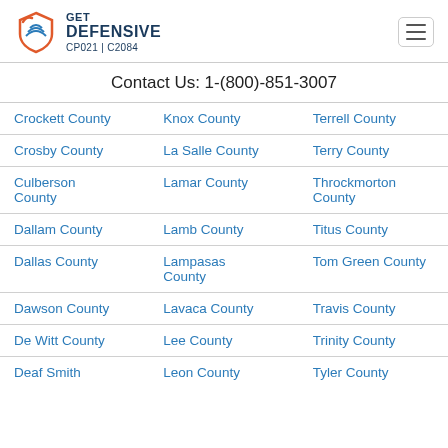GET DEFENSIVE CP021 | C2084
Contact Us: 1-(800)-851-3007
| Column1 | Column2 | Column3 |
| --- | --- | --- |
| Crockett County | Knox County | Terrell County |
| Crosby County | La Salle County | Terry County |
| Culberson County | Lamar County | Throckmorton County |
| Dallam County | Lamb County | Titus County |
| Dallas County | Lampasas County | Tom Green County |
| Dawson County | Lavaca County | Travis County |
| De Witt County | Lee County | Trinity County |
| Deaf Smith | Leon County | Tyler County |